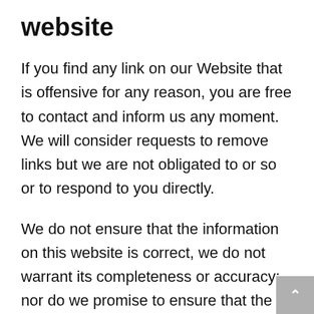website
If you find any link on our Website that is offensive for any reason, you are free to contact and inform us any moment. We will consider requests to remove links but we are not obligated to or so or to respond to you directly.
We do not ensure that the information on this website is correct, we do not warrant its completeness or accuracy; nor do we promise to ensure that the website remains available or that the material on the website